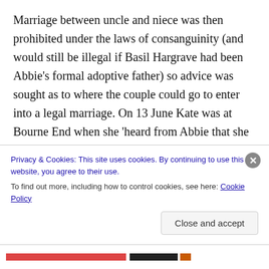Marriage between uncle and niece was then prohibited under the laws of consanguinity (and would still be illegal if Basil Hargrave had been Abbie's formal adoptive father) so advice was sought as to where the couple could go to enter into a legal marriage. On 13 June Kate was at Bourne End when she 'heard from Abbie that she has given her word to marry Basil but they cannot find out where the ceremony can take place to make it legal. Jersey won't do, where the deceased wife's sisters go. In the evening I told Daddie and was fearfully amused at the way he took it. He was pulling up onions at the time and all
Privacy & Cookies: This site uses cookies. By continuing to use this website, you agree to their use.
To find out more, including how to control cookies, see here: Cookie Policy